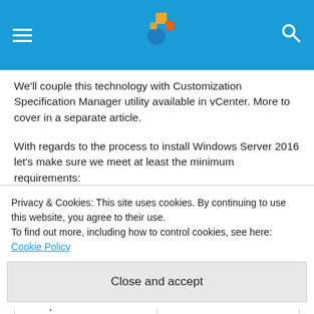[Figure (logo): Website header/navigation bar with hamburger menu icon on the left, a blue and orange logo in the center, and a search icon on the right, on a blue background.]
We'll couple this technology with Customization Specification Manager utility available in vCenter. More to cover in a separate article.
With regards to the process to install Windows Server 2016 let's make sure we meet at least the minimum requirements:
| Description | Minimal System Requirements |
| --- | --- |
| Disk space | 32 GB |
Privacy & Cookies: This site uses cookies. By continuing to use this website, you agree to their use.
To find out more, including how to control cookies, see here: Cookie Policy
Close and accept